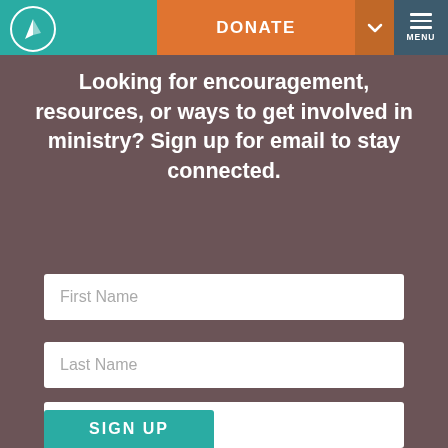DONATE | MENU
Looking for encouragement, resources, or ways to get involved in ministry? Sign up for email to stay connected.
First Name
Last Name
Email
SIGN UP